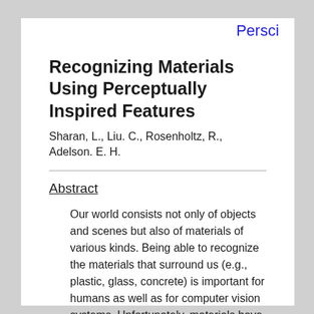Persci
Recognizing Materials Using Perceptually Inspired Features
Sharan, L., Liu. C., Rosenholtz, R., Adelson. E. H.
Abstract
Our world consists not only of objects and scenes but also of materials of various kinds. Being able to recognize the materials that surround us (e.g., plastic, glass, concrete) is important for humans as well as for computer vision systems. Unfortunately, materials have received little attention in the visual recognition literature, and very few computer vision systems have been designed specifically to recognize materials. In this paper, we present